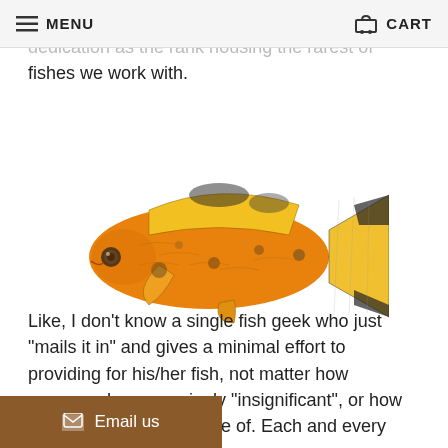MENU | CART
"easy" ones- is given the same level of dedication as the rank housing the rarest of fishes we work with.
[Figure (photo): Orange and black spotted tropical fish (molly fish) on a white background]
Like, I don't know a single fish geek who just "mails it in" and gives a minimal effort to providing for his/her fish, not matter how common, how seemingly "insignificant", or how "easy" one is to take care of. Each and every tank- is given the